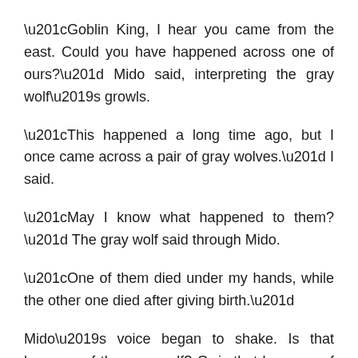“Goblin King, I hear you came from the east. Could you have happened across one of ours?” Mido said, interpreting the gray wolf’s growls.
“This happened a long time ago, but I once came across a pair of gray wolves.” I said.
“May I know what happened to them?” The gray wolf said through Mido.
“One of them died under my hands, while the other one died after giving birth.”
Mido’s voice began to shake. Is that because of the gray wolf? Or is that because of his own emotions?
“I see,” the gray wolf said through Mido. “I suppose that